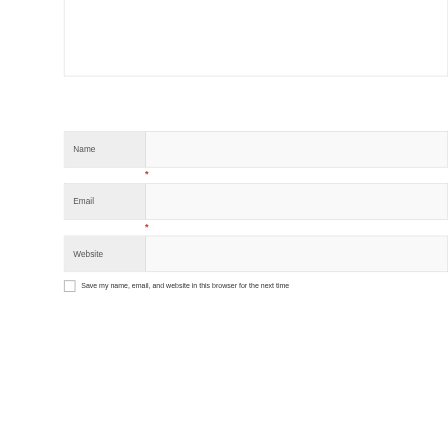[Figure (screenshot): Partial view of a web comment form showing a textarea (top, partially cropped), followed by Name, Email, and Website input fields each with a label on the left and an asterisk (*) required marker below Name and Email fields, and a checkbox with label 'Save my name, email, and website in this browser for the next time' at the bottom.]
Name
*
Email
*
Website
Save my name, email, and website in this browser for the next time